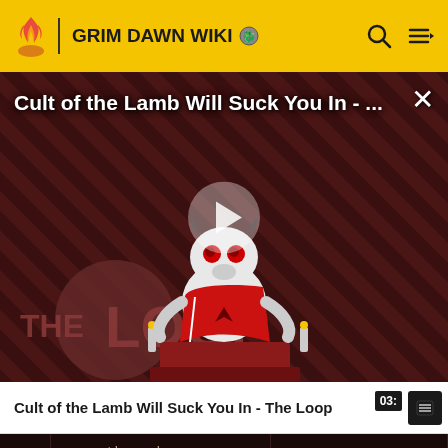GRIM DAWN WIKI
[Figure (screenshot): Video thumbnail showing 'Cult of the Lamb Will Suck You In - ...' with a cartoon lamb character on a red throne against a diagonal striped background, with THE LOOP branding and a play button overlay.]
Cult of the Lamb Will Suck You In - The Loop
pass through Enemies
20% Weapon Damage
248-288 Piercing